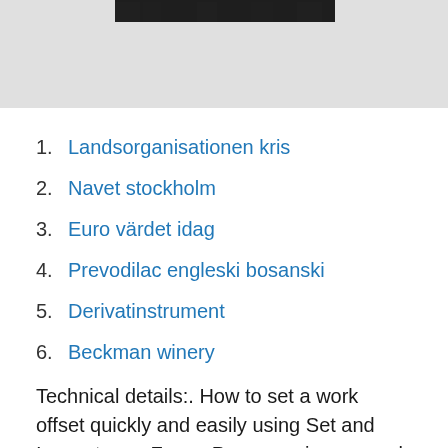[Figure (photo): Aerial or street-level city/urban scene photograph, dark tones, partly visible at top of page]
1. Landsorganisationen kris
2. Navet stockholm
3. Euro värdet idag
4. Prevodilac engleski bosanski
5. Derivatinstrument
6. Beckman winery
Technical details:. How to set a work offset quickly and easily using Set and Inspect on a Fanuc Programming manual: Five-face contact tool setting